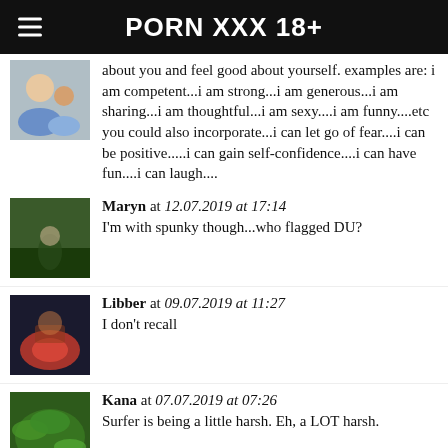PORN XXX 18+
about you and feel good about yourself. examples are: i am competent...i am strong...i am generous...i am sharing...i am thoughtful...i am sexy....i am funny....etc you could also incorporate...i can let go of fear....i can be positive.....i can gain self-confidence....i can have fun....i can laugh....
Maryn at 12.07.2019 at 17:14
I'm with spunky though...who flagged DU?
Libber at 09.07.2019 at 11:27
I don't recall
Kana at 07.07.2019 at 07:26
Surfer is being a little harsh. Eh, a LOT harsh.